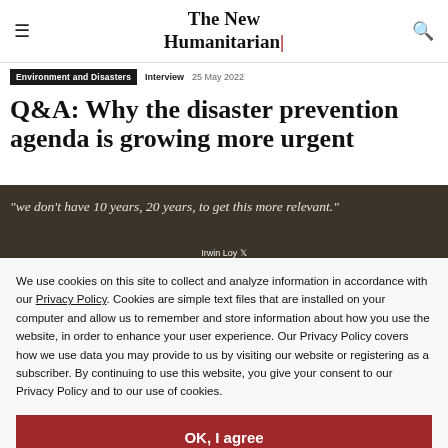The New Humanitarian
Environment and Disasters   Interview   25 May 2022
Q&A: Why the disaster prevention agenda is growing more urgent
"we don't have 10 years, 20 years, to get this more relevant."
Irwin Loy
We use cookies on this site to collect and analyze information in accordance with our Privacy Policy. Cookies are simple text files that are installed on your computer and allow us to remember and store information about how you use the website, in order to enhance your user experience. Our Privacy Policy covers how we use data you may provide to us by visiting our website or registering as a subscriber. By continuing to use this website, you give your consent to our Privacy Policy and to our use of cookies.
OK, I agree